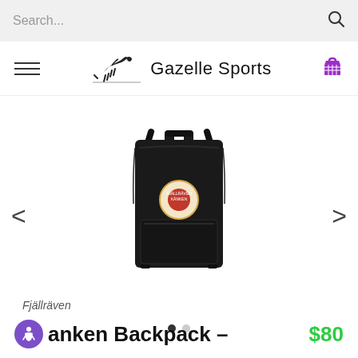Search...
[Figure (logo): Gazelle Sports logo with running gazelle icon and text 'Gazelle Sports']
[Figure (photo): Black Fjällräven Kånken backpack product photo on white background]
Fjällräven
Kånken Backpack - Black
$80